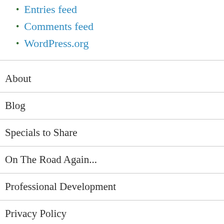Entries feed
Comments feed
WordPress.org
About
Blog
Specials to Share
On The Road Again...
Professional Development
Privacy Policy